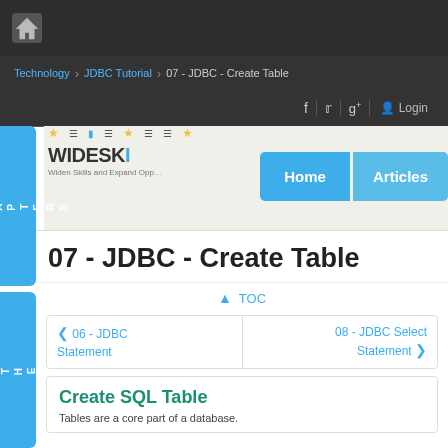[Figure (screenshot): Website header with home icon on dark background]
Technology > JDBC Tutorial > 07 - JDBC - Create Table
[Figure (logo): WideSkills logo with tagline Widen Skills and Expand Opportunities]
[Figure (screenshot): Navigation buttons: Home, Articles]
07 - JDBC - Create Table
TOC
< 06 - JDBC Statement
08 - JDBC Select Statement >
Create SQL Table
Tables are a core part of a database.